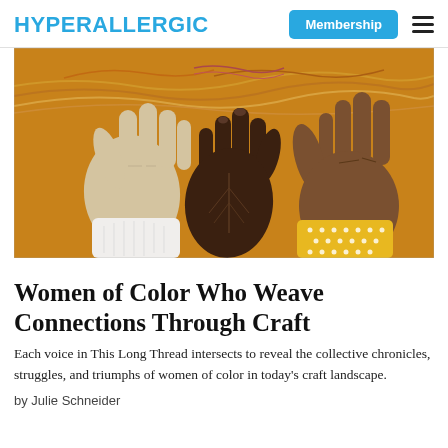HYPERALLERGIC  Membership ☰
[Figure (illustration): An illustration of three hands of different skin tones raised upward against an amber/golden background with flowing wavy lines. Left hand is light-skinned with a white sleeve, center hand is very dark brown, and right hand is dark-skinned with a yellow patterned sleeve cuff.]
Women of Color Who Weave Connections Through Craft
Each voice in This Long Thread intersects to reveal the collective chronicles, struggles, and triumphs of women of color in today's craft landscape.
by Julie Schneider